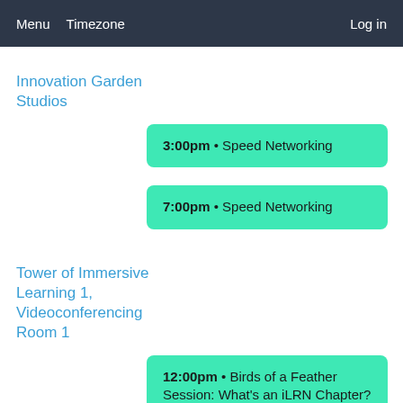Menu  Timezone  Log in
Innovation Garden Studios
3:00pm • Speed Networking
7:00pm • Speed Networking
Tower of Immersive Learning 1, Videoconferencing Room 1
12:00pm • Birds of a Feather Session: What's an iLRN Chapter?